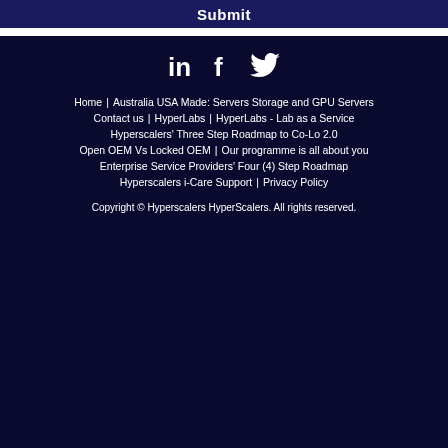Submit
[Figure (illustration): Social media icons: LinkedIn, Facebook, Twitter in white on dark navy background]
Home
Australia USA Made: Servers Storage and GPU Servers
Contact us
HyperLabs
HyperLabs - Lab as a Service
Hyperscalers' Three Step Roadmap to Co-Lo 2.0
Open OEM Vs Locked OEM
Our programme is all about you
Enterprise Service Providers' Four (4) Step Roadmap
Hyperscalers i-Care Support
Privacy Policy
Copyright © Hyperscalers HyperScalers. All rights reserved.